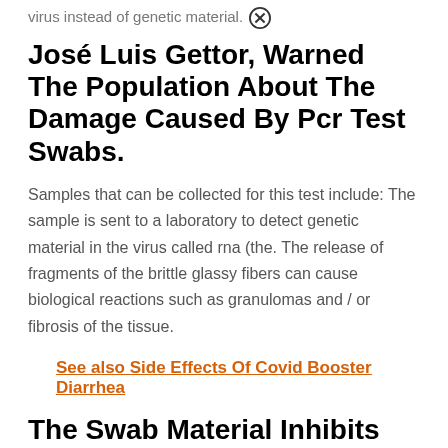virus instead of genetic material.
José Luis Gettor, Warned The Population About The Damage Caused By Pcr Test Swabs.
Samples that can be collected for this test include: The sample is sent to a laboratory to detect genetic material in the virus called rna (the. The release of fragments of the brittle glassy fibers can cause biological reactions such as granulomas and / or fibrosis of the tissue.
See also  Side Effects Of Covid Booster Diarrhea
The Swab Material Inhibits The Test Reaction Or: